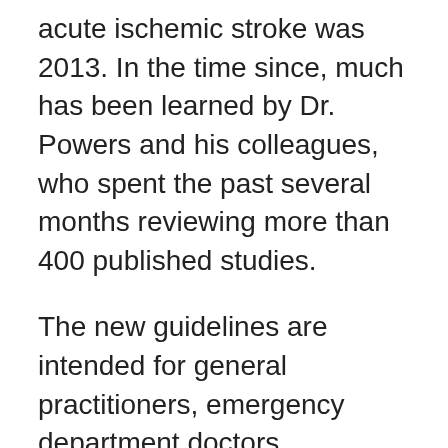acute ischemic stroke was 2013. In the time since, much has been learned by Dr. Powers and his colleagues, who spent the past several months reviewing more than 400 published studies.
The new guidelines are intended for general practitioners, emergency department doctors, specialists and other health care professionals—basically anyone who encounters a patient having an acute ischemic stroke.
The guidelines don't apply to other kinds of stroke, such as hemorrhagic stroke, in